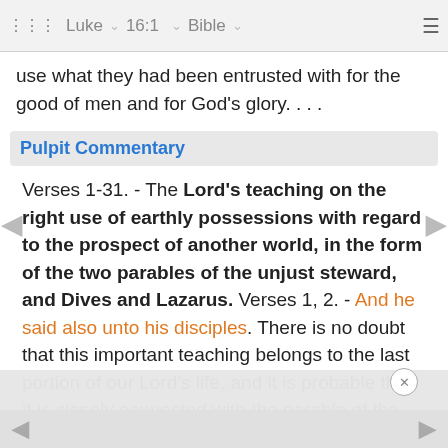Luke | 16:1 | Bible
use what they had been entrusted with for the good of men and for God's glory. . . .
Pulpit Commentary
Verses 1-31. - The Lord's teaching on the right use of earthly possessions with regard to the prospect of another world, in the form of the two parables of the unjust steward, and Dives and Lazarus. Verses 1, 2. - And he said also unto his disciples. There is no doubt that this important teaching belongs to the last portion of our Lord's life, and it is probable that it is closely connected with the parable of the prodigal son just related. It is not likely that two such weighty sermons had been preached at the same time, but in the evening or on the ... bath, the sa ... son